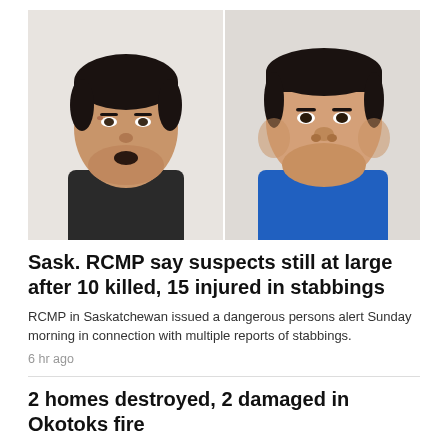[Figure (photo): Two mugshot-style photos side by side: left person wearing dark shirt with short black hair, right person wearing blue shirt with short black hair, both facing camera against light background]
Sask. RCMP say suspects still at large after 10 killed, 15 injured in stabbings
RCMP in Saskatchewan issued a dangerous persons alert Sunday morning in connection with multiple reports of stabbings.
6 hr ago
2 homes destroyed, 2 damaged in Okotoks fire